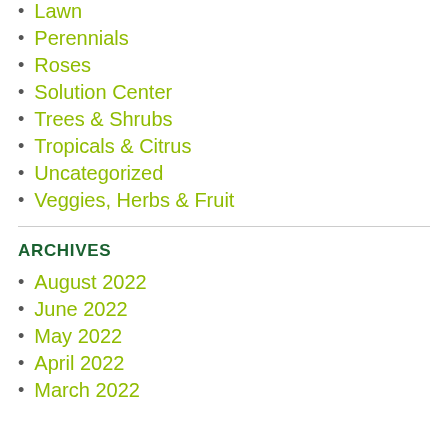Lawn
Perennials
Roses
Solution Center
Trees & Shrubs
Tropicals & Citrus
Uncategorized
Veggies, Herbs & Fruit
ARCHIVES
August 2022
June 2022
May 2022
April 2022
March 2022